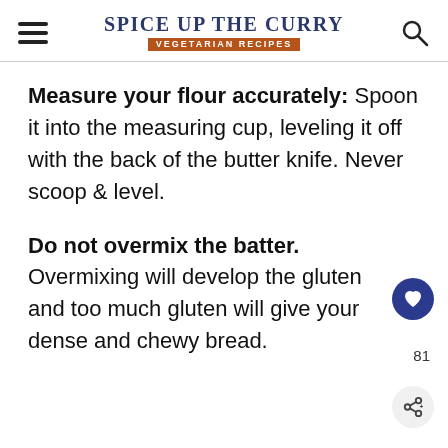Spice Up The Curry — Vegetarian Recipes
Measure your flour accurately: Spoon it into the measuring cup, leveling it off with the back of the butter knife. Never scoop & level.
Do not overmix the batter. Overmixing will develop the gluten and too much gluten will give your dense and chewy bread.